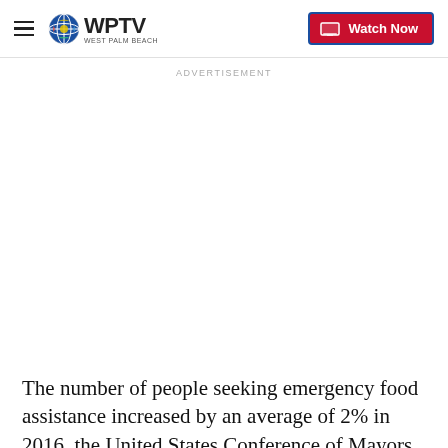WPTV West Palm Beach | Watch Now
ADVERTISEMENT
The number of people seeking emergency food assistance increased by an average of 2% in 2016, the United States Conference of Mayors said in its annual